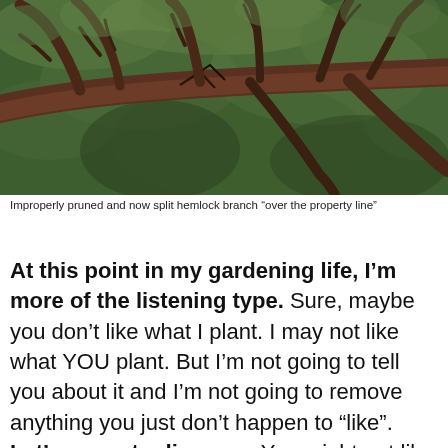[Figure (photo): Photograph of an improperly pruned and now split hemlock tree branch extending over a property line, with green foliage visible in the background.]
Improperly pruned and now split hemlock branch “over the property line”
At this point in my gardening life, I’m more of the listening type. Sure, maybe you don’t like what I plant. I may not like what YOU plant. But I’m not going to tell you about it and I’m not going to remove anything you just don’t happen to “like”. Let’s agree to disagree. You might not like my cedar wall and I may